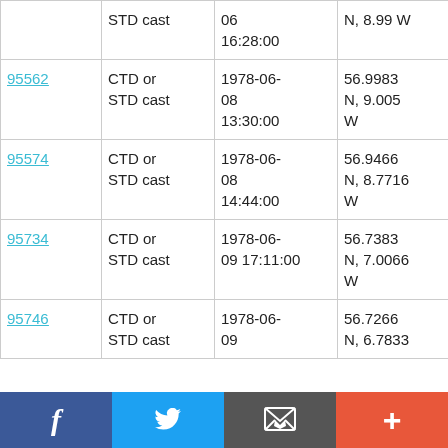| ID | Type | Date/Time | Location | Ship |
| --- | --- | --- | --- | --- |
|  | STD cast | 06 16:28:00 | N, 8.99 W | RRS Challenger CH9/78 |
| 95562 | CTD or STD cast | 1978-06-08 13:30:00 | 56.9983 N, 9.005 W | RRS Challenger CH9/78 |
| 95574 | CTD or STD cast | 1978-06-08 14:44:00 | 56.9466 N, 8.7716 W | RRS Challenger CH9/78 |
| 95734 | CTD or STD cast | 1978-06-09 17:11:00 | 56.7383 N, 7.0066 W | RRS Challenger CH9/78 |
| 95746 | CTD or STD cast | 1978-06-09 | 56.7266 N, 6.7833 | RRS Challenger |
Social share bar: Facebook, Twitter, Email, Plus